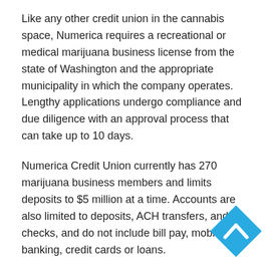Like any other credit union in the cannabis space, Numerica requires a recreational or medical marijuana business license from the state of Washington and the appropriate municipality in which the company operates. Lengthy applications undergo compliance and due diligence with an approval process that can take up to 10 days.
Numerica Credit Union currently has 270 marijuana business members and limits deposits to $5 million at a time. Accounts are also limited to deposits, ACH transfers, and checks, and do not include bill pay, mobile banking, credit cards or loans.
States like California are extremely motivated to provide a solution as California State Treasurer John Chiang announced in late January, “The reliance on cash paints a target on the bank of marijuana operators and makes them and the public vulnerable to violence and organized
[Figure (other): Cyan/teal diamond-shaped badge with an upward-pointing chevron/arrow icon in the center]